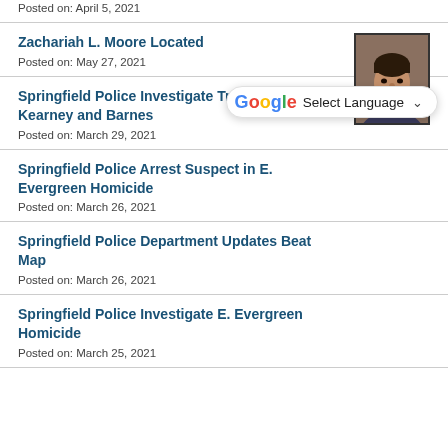Posted on: April 5, 2021
Zachariah L. Moore Located
Posted on: May 27, 2021
[Figure (photo): Mugshot photo of Zachariah L. Moore — male with dark hair and beard]
Springfield Police Investigate Traffic Fatality at Kearney and Barnes
Posted on: March 29, 2021
Springfield Police Arrest Suspect in E. Evergreen Homicide
Posted on: March 26, 2021
Springfield Police Department Updates Beat Map
Posted on: March 26, 2021
Springfield Police Investigate E. Evergreen Homicide
Posted on: March 25, 2021